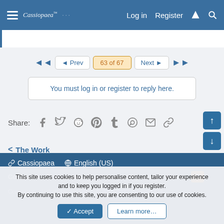Cassiopaea  Log in  Register
You must log in or register to reply here.
Share:
< The Work
Cassiopaea  English (US)  Contact us  Terms and rules  Privacy policy  Help  Home  Community platform by XenForo® © 2010-2022 XenForo Ltd.
This site uses cookies to help personalise content, tailor your experience and to keep you logged in if you register. By continuing to use this site, you are consenting to our use of cookies.
Accept  Learn more…